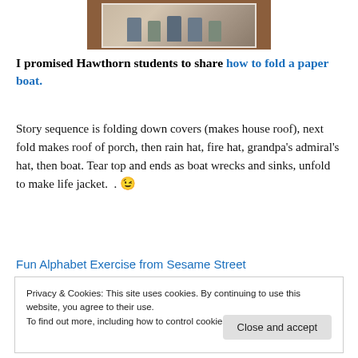[Figure (photo): A photograph of a group of people, partially visible at top of page, lying on a wooden surface]
I promised Hawthorn students to share how to fold a paper boat.
Story sequence is folding down covers (makes house roof), next fold makes roof of porch, then rain hat, fire hat, grandpa’s admiral’s hat, then boat. Tear top and ends as boat wrecks and sinks, unfold to make life jacket.  . 😉
Fun Alphabet Exercise from Sesame Street
Privacy & Cookies: This site uses cookies. By continuing to use this website, you agree to their use.
To find out more, including how to control cookies, see here: Cookie Policy